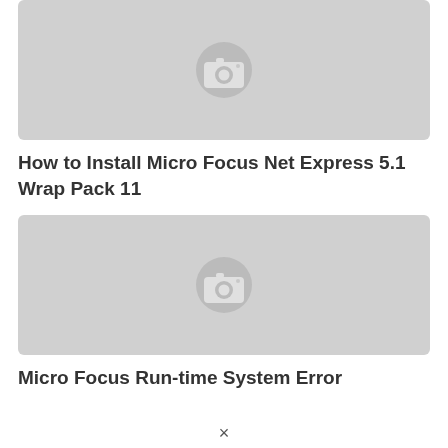[Figure (photo): Placeholder image thumbnail with camera icon for 'How to Install Micro Focus Net Express 5.1 Wrap Pack 11']
How to Install Micro Focus Net Express 5.1 Wrap Pack 11
[Figure (photo): Placeholder image thumbnail with camera icon for 'Micro Focus Run-time System Error']
Micro Focus Run-time System Error